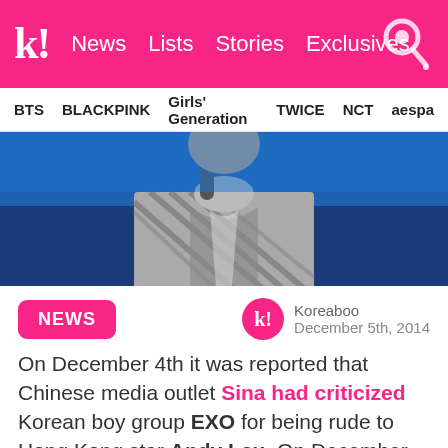k! News Lists Stories Exclusives
BTS BLACKPINK Girls' Generation TWICE NCT aespa
[Figure (photo): Hero image of a performer in a houndstooth/checked blazer against a blue background]
NEWS
Koreaboo
December 5th, 2014
On December 4th it was reported that Chinese media outlet Sina had criticized Korean boy group EXO for being rude to Hong Kong star Andy Lau. On December 5th, Hong Kong singer Eason Chan spoke up and defended EXO on this matter.